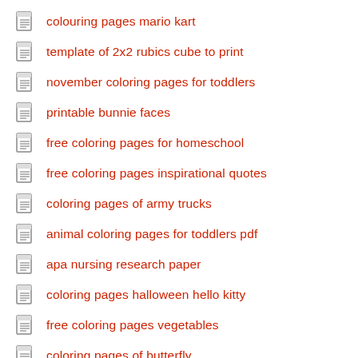colouring pages mario kart
template of 2x2 rubics cube to print
november coloring pages for toddlers
printable bunnie faces
free coloring pages for homeschool
free coloring pages inspirational quotes
coloring pages of army trucks
animal coloring pages for toddlers pdf
apa nursing research paper
coloring pages halloween hello kitty
free coloring pages vegetables
coloring pages of butterfly
research paper first draft example
colouring pages of nemo the fish